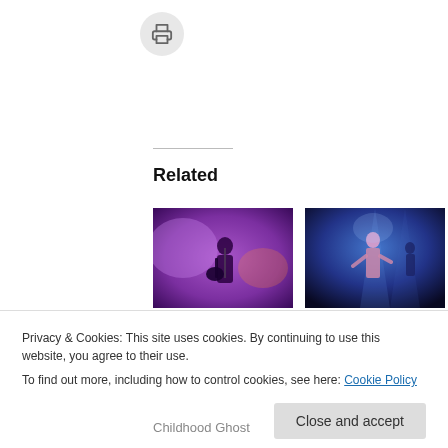[Figure (illustration): Print icon — circular grey button with a printer symbol]
Related
[Figure (photo): Concert photo: Cate Le Bon performing on stage with a guitar under purple/pink lighting]
Enigmatic Cate Le Bon Puts Toronto's Great Hall Under Her Spell
July 26, 2022
In "Featured"
[Figure (photo): Concert photo: Alanis Morissette performing on stage under blue lighting]
Alanis Morissette Celebrates 25 Years of Jagged Little Pill in Toronto
July 20, 2022
In "Featured"
Privacy & Cookies: This site uses cookies. By continuing to use this website, you agree to their use.
To find out more, including how to control cookies, see here: Cookie Policy
Childhood Ghost